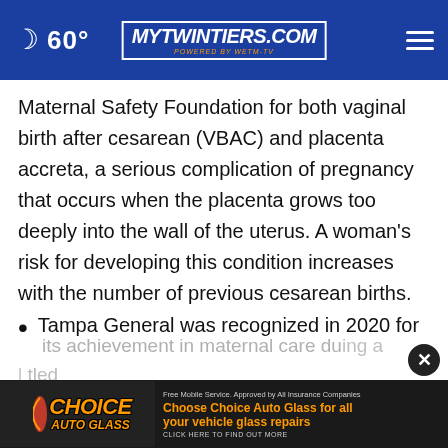60° mytwintiers.com
Maternal Safety Foundation for both vaginal birth after cesarean (VBAC) and placenta accreta, a serious complication of pregnancy that occurs when the placenta grows too deeply into the wall of the uterus. A woman's risk for developing this condition increases with the number of previous cesarean births.
Tampa General was recognized in 2020 for its achievement in maternal care during a [banner obscured] tled
[Figure (advertisement): Choice Auto Glass advertisement banner with orange and black logo and text: Free Mobile Service. Approved by All Insurance Companies. Choose Choice Auto Glass for all your vehicle glass repairs. CLICK HERE TO FIND OUT MORE]